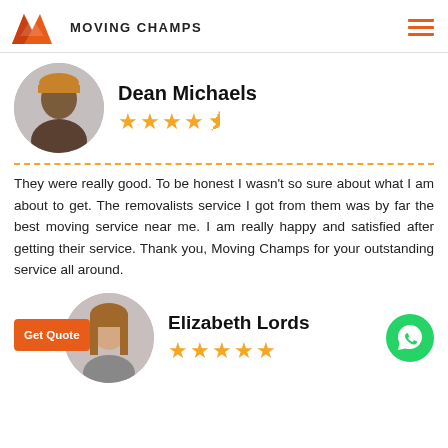Moving Champs
Dean Michaels
4.5 stars
They were really good. To be honest I wasn't so sure about what I am about to get. The removalists service I got from them was by far the best moving service near me. I am really happy and satisfied after getting their service. Thank you, Moving Champs for your outstanding service all around.
Elizabeth Lords
5 stars